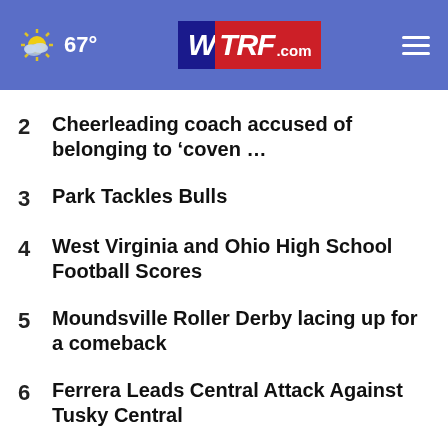67° WTRF.com
2  Cheerleading coach accused of belonging to ‘coven …
3  Park Tackles Bulls
4  West Virginia and Ohio High School Football Scores
5  Moundsville Roller Derby lacing up for a comeback
6  Ferrera Leads Central Attack Against Tusky Central
7  St. Clairsville Council interview candidates for …